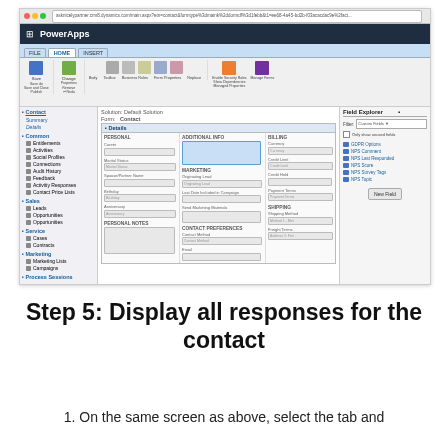[Figure (screenshot): Screenshot of Microsoft PowerApps/Dynamics CRM interface showing a Contact form with Details tab selected, left navigation panel, form fields (Personal, Billing, Marketing, Shipping, Contact Preferences sections), and Field Explorer panel on the right with NPS-related custom fields listed.]
Step 5: Display all responses for the contact
1. On the same screen as above, select the tab and